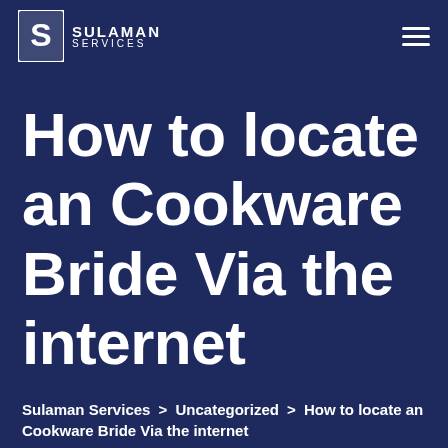Sulaman Services
How to locate an Cookware Bride Via the internet
Sulaman Services > Uncategorized > How to locate an Cookware Bride Via the internet